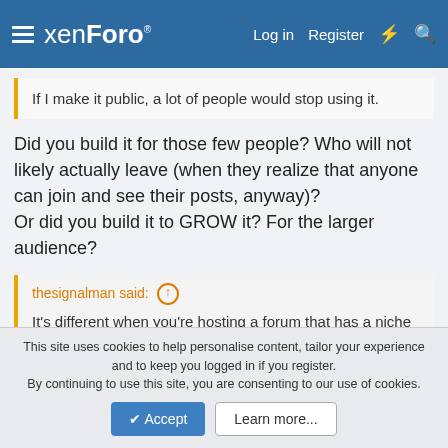xenForo — Log in  Register
If I make it public, a lot of people would stop using it.
Did you build it for those few people? Who will not likely actually leave (when they realize that anyone can join and see their posts, anyway)?
Or did you build it to GROW it? For the larger audience?
thesignalman said: ↑
It's different when you're hosting a forum that has a niche hobby.
My forum is a niche hobby. And, it's a controversial niche hobby. It's open, minus a couple of sub-forums, which are hidden mainly to make them a "benefit" of membership. It's growing. It's
This site uses cookies to help personalise content, tailor your experience and to keep you logged in if you register.
By continuing to use this site, you are consenting to our use of cookies.